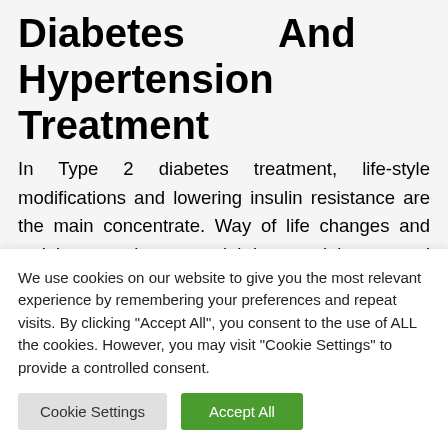Diabetes And Hypertension Treatment
In Type 2 diabetes treatment, life-style modifications and lowering insulin resistance are the main concentrate. Way of life changes and weight control are crucial in sustaining normal blood sugar levels. Nonetheless, if life-style modifications alone are not enough, you might want to use prescription medicines. Non-insulin drugs include
We use cookies on our website to give you the most relevant experience by remembering your preferences and repeat visits. By clicking "Accept All", you consent to the use of ALL the cookies. However, you may visit "Cookie Settings" to provide a controlled consent.